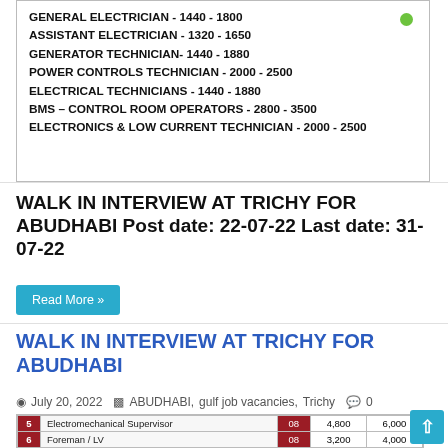[Figure (screenshot): Job listing image showing electrician and technician roles with salary ranges. Lines include: GENERAL ELECTRICIAN - 1440 - 1800, ASSISTANT ELECTRICIAN - 1320 - 1650, GENERATOR TECHNICIAN- 1440 - 1880, POWER CONTROLS TECHNICIAN - 2000 - 2500, ELECTRICAL TECHNICIANS - 1440 - 1880, BMS – CONTROL ROOM OPERATORS - 2800 - 3500, ELECTRONICS & LOW CURRENT TECHNICIAN - 2000 - 2500]
WALK IN INTERVIEW AT TRICHY FOR ABUDHABI Post date: 22-07-22 Last date: 31-07-22
Read More »
WALK IN INTERVIEW AT TRICHY FOR ABUDHABI
July 20, 2022  ABUDHABI, gulf job vacancies, Trichy  0
[Figure (table-as-image): Table showing job positions with columns for number, job title, code (08), and salary ranges. Rows: 5 Electromechanical Supervisor 08 4,800 6,000; 6 Foreman / LV 08 3,200 4,000; 7 Foreman / Low Current 08 2,800 3,500; 8 Foreman Electrical 08 3,200 4,000]